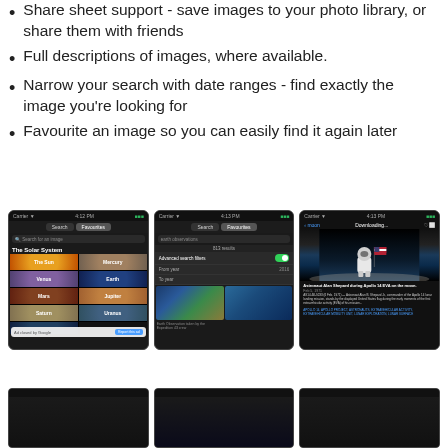Share sheet support - save images to your photo library, or share them with friends
Full descriptions of images, where available.
Narrow your search with date ranges - find exactly the image you’re looking for
Favourite an image so you can easily find it again later
[Figure (screenshot): Mobile app screenshot showing Solar System category grid with planets including The Sun, Mercury, Venus, Earth, Mars, Jupiter, Saturn, Uranus with Google ad overlay]
[Figure (screenshot): Mobile app screenshot showing search results with advanced search filters toggle enabled, From year field showing 2016, and Earth observation satellite images]
[Figure (screenshot): Mobile app screenshot showing detail view of astronaut Alan Shepard during Apollo 14 EVA on the moon, with description text and tags]
[Figure (screenshot): Mobile app screenshot partially visible at bottom - dark UI]
[Figure (screenshot): Mobile app screenshot partially visible at bottom - dark UI]
[Figure (screenshot): Mobile app screenshot partially visible at bottom - dark UI]